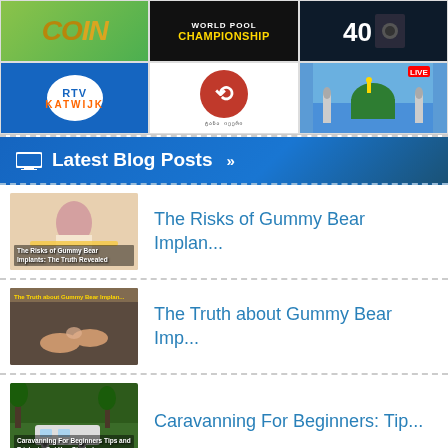[Figure (screenshot): Top grid row 1: COIN logo (gold/green), World Pool Championship badge (black bg), and a dark TV screenshot]
[Figure (screenshot): Top grid row 2: RTV Katwijk logo (blue), Georgian TV channel logo with red circle and Georgian text, Mosque with green dome live stream]
Latest Blog Posts »
[Figure (screenshot): Blog post thumbnail: The Risks of Gummy Bear Implants - The Truth Revealed, woman measuring waist]
The Risks of Gummy Bear Implan...
[Figure (screenshot): Blog post thumbnail: The Truth about Gummy Bear Implants, hands holding something]
The Truth about Gummy Bear Imp...
[Figure (screenshot): Blog post thumbnail: Caravanning For Beginners Tips and Tricks to Get You Started, caravan in nature]
Caravanning For Beginners: Tip...
Most Watched »